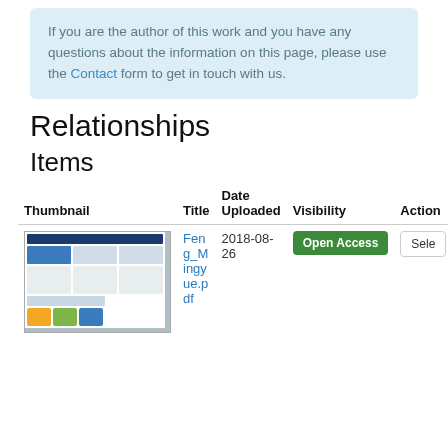If you are the author of this work and you have any questions about the information on this page, please use the Contact form to get in touch with us.
Relationships
Items
| Thumbnail | Title | Date Uploaded | Visibility | Actions |
| --- | --- | --- | --- | --- |
| [thumbnail image] | Feng_Mingyue.pdf | 2018-08-26 | Open Access | Select |